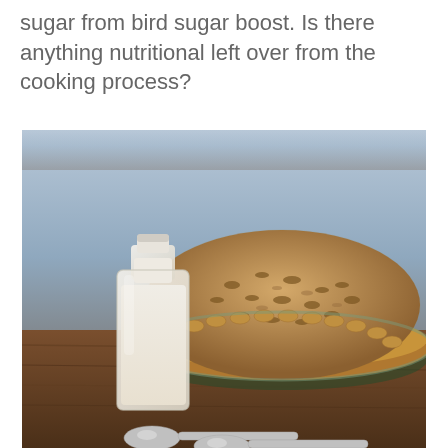sugar from bird sugar boost. Is there anything nutritional left over from the cooking process?
[Figure (photo): A photo of a pecan or crumble-topped pie in a glass pie dish on a wooden cutting board, with a small glass milk bottle filled with cream or milk in the foreground, and spoons partially visible at the bottom.]